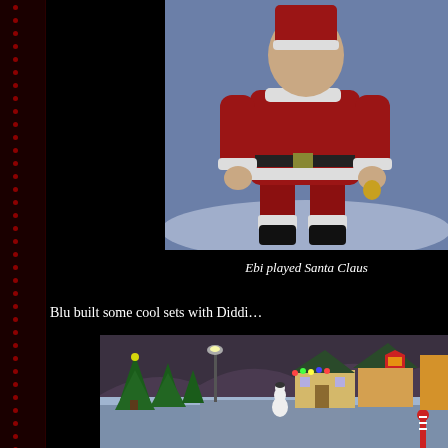[Figure (screenshot): Screenshot of a 3D virtual world/game showing a character dressed as Santa Claus in a red suit, white trim, and black boots, standing in a snowy blue environment]
Ebi played Santa Claus
Blu built some cool sets with Diddi…
[Figure (screenshot): Screenshot of a 3D virtual Christmas village scene with decorated trees, snow-covered ground, colorful houses, a snowman, and holiday lights]